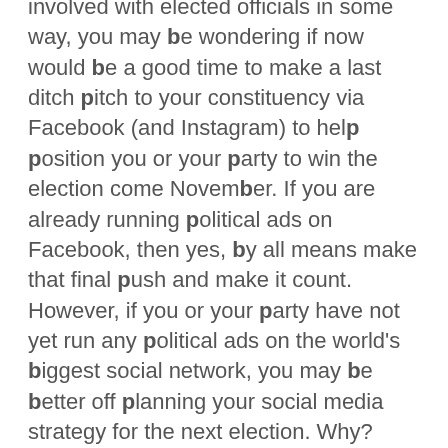involved with elected officials in some way, you may be wondering if now would be a good time to make a last ditch pitch to your constituency via Facebook (and Instagram) to help position you or your party to win the election come November. If you are already running political ads on Facebook, then yes, by all means make that final push and make it count. However, if you or your party have not yet run any political ads on the world's biggest social network, you may be better off planning your social media strategy for the next election. Why? Read on . . .
As has been widely reported since the events of the 2016 Presidential Election